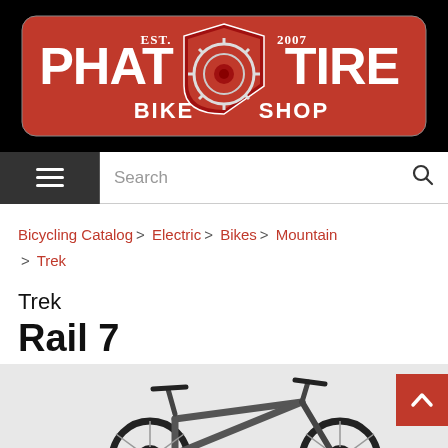[Figure (logo): Phat Tire Bike Shop logo — red shield with gear, white text reading PHAT TIRE BIKE SHOP, EST. 2007, on black background]
Search
Bicycling Catalog > Electric > Bikes > Mountain > Trek
Trek Rail 7
[Figure (photo): Trek Rail 7 electric mountain bike, olive/dark grey color, partial side view showing frame, handlebars, saddle, and front wheel on white/light background]